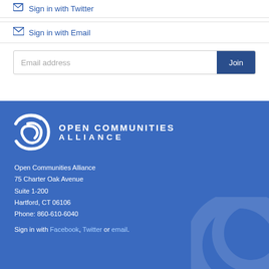Sign in with Twitter
Sign in with Email
Email address  Join
[Figure (logo): Open Communities Alliance logo — two overlapping circular swash shapes in white, with text OPEN COMMUNITIES ALLIANCE to the right]
Open Communities Alliance
75 Charter Oak Avenue
Suite 1-200
Hartford, CT 06106
Phone: 860-610-6040
Sign in with Facebook, Twitter or email.